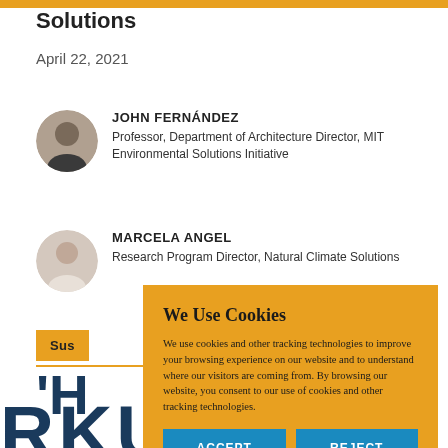Solutions
April 22, 2021
JOHN FERNÁNDEZ
Professor, Department of Architecture Director, MIT Environmental Solutions Initiative
MARCELA ANGEL
Research Program Director, Natural Climate Solutions
Sus
H
RKUNTI
We Use Cookies
We use cookies and other tracking technologies to improve your browsing experience on our website and to understand where our visitors are coming from. By browsing our website, you consent to our use of cookies and other tracking technologies.
ACCEPT  REJECT